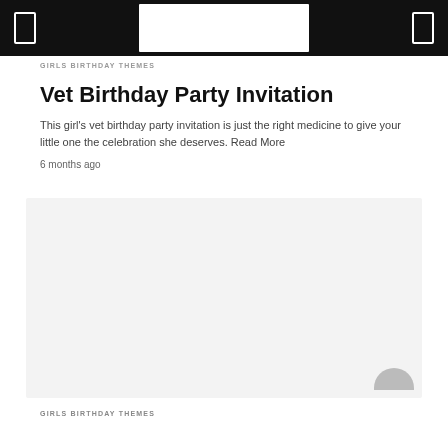GIRLS BIRTHDAY THEMES
Vet Birthday Party Invitation
This girl's vet birthday party invitation is just the right medicine to give your little one the celebration she deserves. Read More
6 months ago
[Figure (photo): Light gray image placeholder area for vet birthday party invitation photo]
GIRLS BIRTHDAY THEMES